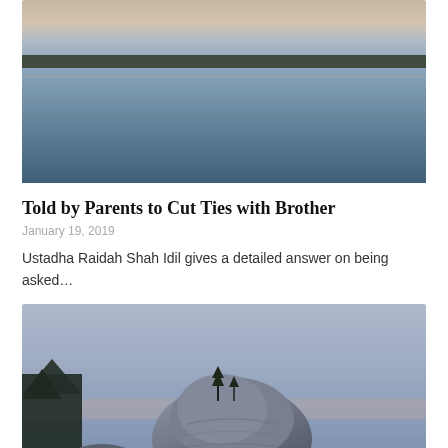[Figure (photo): Tranquil lake scene at dusk with calm blue-grey water reflecting the sky, trees silhouetted on the horizon]
Told by Parents to Cut Ties with Brother
January 19, 2019
Ustadha Raidah Shah Idil gives a detailed answer on being asked…
[Figure (photo): Large boulder rock formation at dusk with small trees on top, rocky shoreline with pine trees, purple-blue twilight sky]